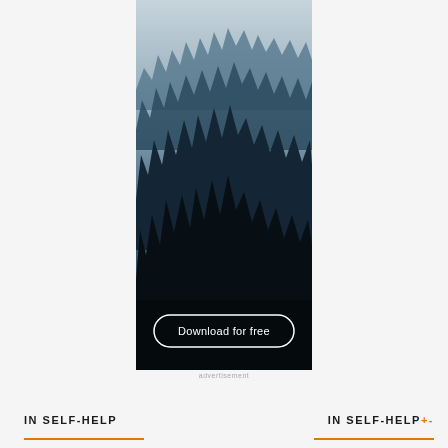[Figure (photo): Dark moody forest photograph showing tall conifer trees in layered rows against a misty, grey-blue sky. Dense pine/fir trees in deep blue-green and dark tones, fog visible between ridgelines. A white-bordered rounded rectangle button reads 'Download for free' near the bottom of the image.]
advertisement
IN SELF-HELP
IN SELF-HELP+-